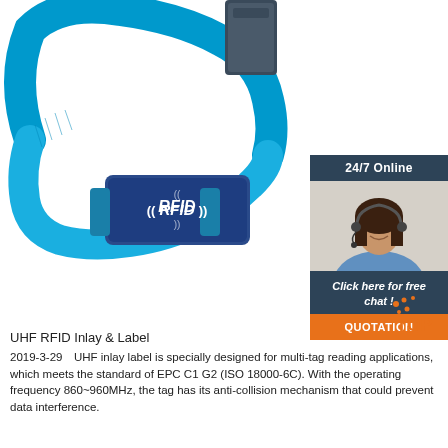[Figure (photo): Blue RFID NFC wristband/bracelet with dark blue rectangular RFID tag module labeled '((RFID))' on a white background]
[Figure (infographic): Chat widget showing '24/7 Online' bar, photo of smiling woman with headset, 'Click here for free chat!' text, and orange 'QUOTATION' button]
[Figure (logo): Orange 'TOP' logo with dot pattern overlay in bottom-right area]
UHF RFID Inlay & Label
2019-3-29  UHF inlay label is specially designed for multi-tag reading applications, which meets the standard of EPC C1 G2 (ISO 18000-6C). With the operating frequency 860~960MHz, the tag has its anti-collision mechanism that could prevent data interference.